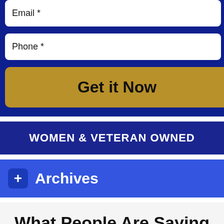Email *
Phone *
Get it Now
WOMEN & VETERAN OWNED
+ Archives
What People Are Saying About Us